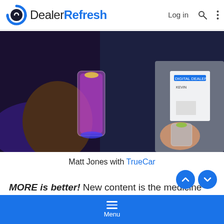DealerRefresh — Log in
[Figure (photo): Two people at a conference event holding drinks; one with a purple cocktail with lemon, another with a short glass. The person on the right is wearing a Digital Dealer conference badge.]
Matt Jones with TrueCar
MORE is better! New content is the medicine for great SEO (or so we are told/sold). If the SEO solution builds
Menu